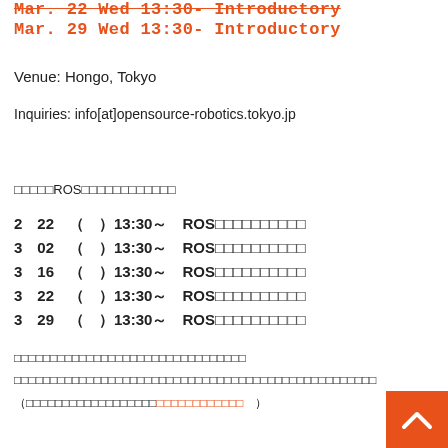Mar. 22 Wed 13:30- Introductory
Mar. 29 Wed 13:30- Introductory
Venue: Hongo, Tokyo
Inquiries: info[at]opensource-robotics.tokyo.jp
□□□□□ROS□□□□□□□□□□□□
2  22  （  ）13:30～　ROS□□□□□□□□□□
3  02  （  ）13:30～　ROS□□□□□□□□□□
3  16  （  ）13:30～　ROS□□□□□□□□□□
3  22  （  ）13:30～　ROS□□□□□□□□□□
3  29  （  ）13:30～　ROS□□□□□□□□□□
□□□□□□□□□□□□□□□□□□□□□□□□□□□□
□□□□□□□□□□□□□□□□□□□□□□□□□□□□□□□□□□□□□□□□□□□□□
（□□□□□□□□□□□□□□□□□□□□□□□□□□□□　）